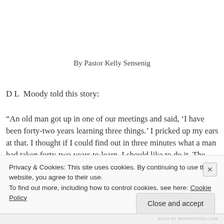By Pastor Kelly Sensenig
D L  Moody told this story:
“An old man got up in one of our meetings and said, ‘I have been forty-two years learning three things.’ I pricked up my ears at that. I thought if I could find out in three minutes what a man had taken forty-two years to learn, I should like to do it. The first
Privacy & Cookies: This site uses cookies. By continuing to use this website, you agree to their use.
To find out more, including how to control cookies, see here: Cookie Policy
Close and accept